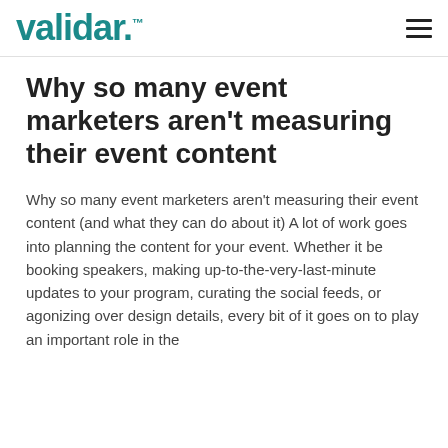validar.™
Why so many event marketers aren't measuring their event content
Why so many event marketers aren't measuring their event content (and what they can do about it) A lot of work goes into planning the content for your event. Whether it be booking speakers, making up-to-the-very-last-minute updates to your program, curating the social feeds, or agonizing over design details, every bit of it goes on to play an important role in the